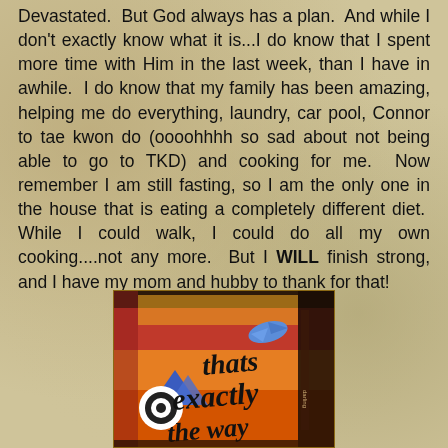Devastated.  But God always has a plan.  And while I don't exactly know what it is...I do know that I spent more time with Him in the last week, than I have in awhile.  I do know that my family has been amazing, helping me do everything, laundry, car pool, Connor to tae kwon do (oooohhhh so sad about not being able to go to TKD) and cooking for me.  Now remember I am still fasting, so I am the only one in the house that is eating a completely different diet.  While I could walk, I could do all my own cooking....not any more.  But I WILL finish strong, and I have my mom and hubby to thank for that!
[Figure (illustration): Colorful mixed-media artwork with text reading 'thats exactly the way' in cursive script on an orange and red background with blue triangles, a blue bird, and a bullseye/target symbol.]